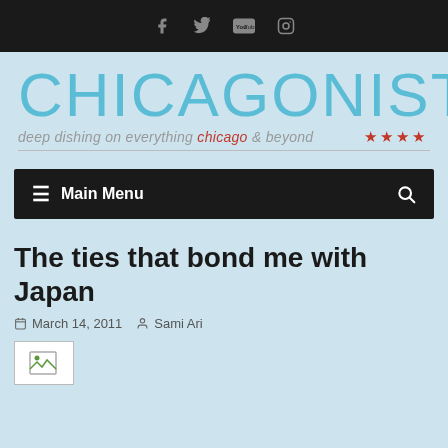Social media icons: Facebook, Twitter, YouTube, Instagram
CHICAGONISTA
deep dishing on everything chicago & beyond ★★★★
≡ Main Menu
The ties that bond me with Japan
March 14, 2011   Sami Ari
[Figure (other): Broken image placeholder icon (white background with small image icon)]